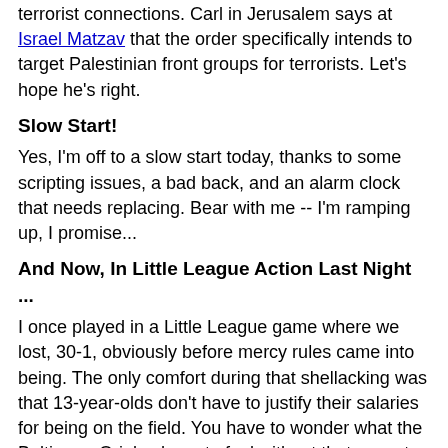terrorist connections. Carl in Jerusalem says at Israel Matzav that the order specifically intends to target Palestinian front groups for terrorists. Let's hope he's right.
Slow Start!
Yes, I'm off to a slow start today, thanks to some scripting issues, a bad back, and an alarm clock that needs replacing. Bear with me -- I'm ramping up, I promise...
And Now, In Little League Action Last Night ...
I once played in a Little League game where we lost, 30-1, obviously before mercy rules came into being. The only comfort during that shellacking was that 13-year-olds don't have to justify their salaries for being on the field. You have to wonder what the Baltimore Orioles have to feel without that caveat today, after losing 30-3 to the Texas Rangers. Sixteen of the runs came in the last two innings .... (via TMV)
Bush Speech On Iraq
I got a couple of e-mails wondering why I haven't linked to George Bush's speech today. I liked it; I just didn't have much to add. Rush Limbaugh covered it well on his site, and Power Line also links approvingly but has nothing much more to say. Michael Goldfarb